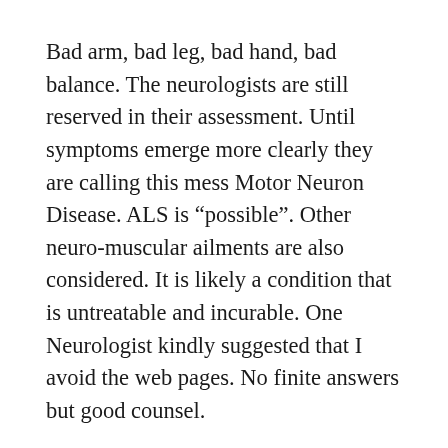Bad arm, bad leg, bad hand, bad balance. The neurologists are still reserved in their assessment. Until symptoms emerge more clearly they are calling this mess Motor Neuron Disease. ALS is “possible”. Other neuro-muscular ailments are also considered. It is likely a condition that is untreatable and incurable. One Neurologist kindly suggested that I avoid the web pages. No finite answers but good counsel.
The decline is as steady as my old Timex. I don’t see change through days, weeks, or even months. But when I roll back a year the decline is clear as day. A year ago, I would be down that